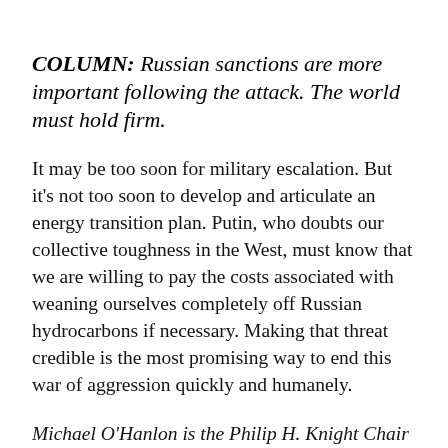COLUMN: Russian sanctions are more important following the attack. The world must hold firm.
It may be too soon for military escalation. But it's not too soon to develop and articulate an energy transition plan. Putin, who doubts our collective toughness in the West, must know that we are willing to pay the costs associated with weaning ourselves completely off Russian hydrocarbons if necessary. Making that threat credible is the most promising way to end this war of aggression quickly and humanely.
Michael O'Hanlon is the Philip H. Knight Chair in Defense and Strategy and director of research, Foreign Policy Program, Brookings